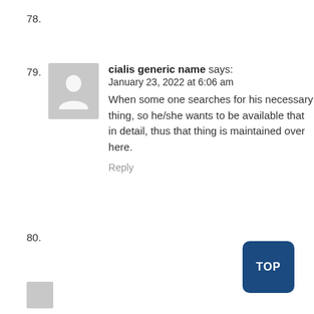78.
79. cialis generic name says:
January 23, 2022 at 6:06 am
When some one searches for his necessary thing, so he/she wants to be available that in detail, thus that thing is maintained over here.
Reply
80.